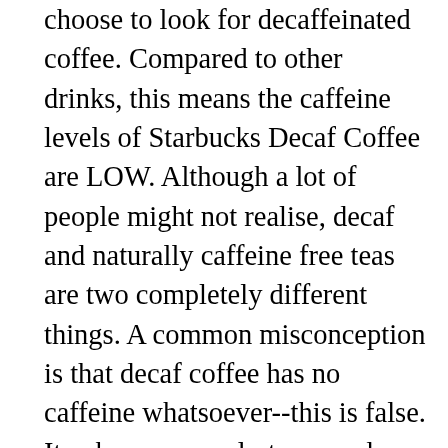choose to look for decaffeinated coffee. Compared to other drinks, this means the caffeine levels of Starbucks Decaf Coffee are LOW. Although a lot of people might not realise, decaf and naturally caffeine free teas are two completely different things. A common misconception is that decaf coffee has no caffeine whatsoever--this is false. It enhances our alertness and decreases sleepiness: two things we all need in the midst of our busy days. Like all coffee drinks, caffeine levels vary greatly - due to variations in the coffee blend, the exact amount of ground coffee used, and brewing technique. Learn coffee basics with Folgers! One of them is potassium. Folgers Classic Roast. Other people find there's no